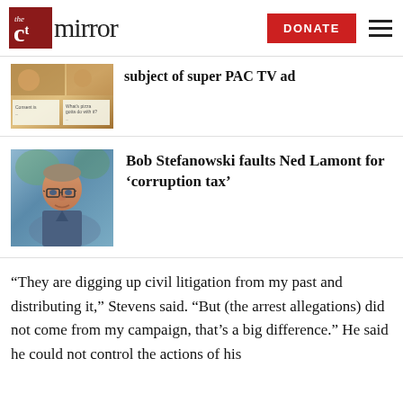[Figure (logo): The CT Mirror logo with red box icon and 'mirror' text, plus DONATE button and hamburger menu]
subject of super PAC TV ad
[Figure (photo): Thumbnail image related to article about super PAC TV ad, showing food/pizza related content with small text labels]
[Figure (photo): Photo of Bob Stefanowski, a middle-aged man with glasses outdoors]
Bob Stefanowski faults Ned Lamont for ‘corruption tax’
“They are digging up civil litigation from my past and distributing it,” Stevens said. “But (the arrest allegations) did not come from my campaign, that’s a big difference.” He said he could not control the actions of his